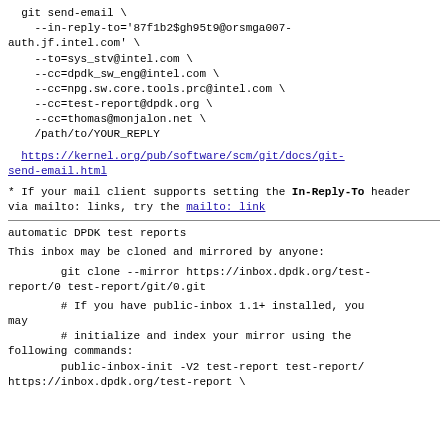git send-email \
    --in-reply-to='87f1b2$gh95t9@orsmga007-auth.jf.intel.com' \
    --to=sys_stv@intel.com \
    --cc=dpdk_sw_eng@intel.com \
    --cc=npg.sw.core.tools.prc@intel.com \
    --cc=test-report@dpdk.org \
    --cc=thomas@monjalon.net \
    /path/to/YOUR_REPLY
https://kernel.org/pub/software/scm/git/docs/git-send-email.html
* If your mail client supports setting the In-Reply-To header
  via mailto: links, try the mailto: link
automatic DPDK test reports
This inbox may be cloned and mirrored by anyone:
git clone --mirror https://inbox.dpdk.org/test-report/0 test-report/git/0.git
# If you have public-inbox 1.1+ installed, you may
        # initialize and index your mirror using the following commands:
        public-inbox-init -V2 test-report test-report/
https://inbox.dpdk.org/test-report \